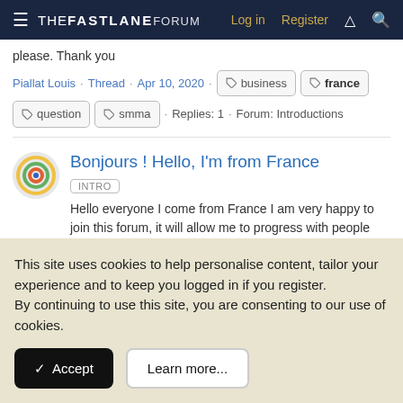THE FASTLANE FORUM   Log in   Register
please. Thank you
Piallat Louis · Thread · Apr 10, 2020 · business · france · question · smma · Replies: 1 · Forum: Introductions
Bonjours ! Hello, I'm from France
INTRO
Hello everyone I come from France I am very happy to join this forum, it will allow me to progress with people who have the same state of mind that we all, it's great thank you Merci
This site uses cookies to help personalise content, tailor your experience and to keep you logged in if you register.
By continuing to use this site, you are consenting to our use of cookies.